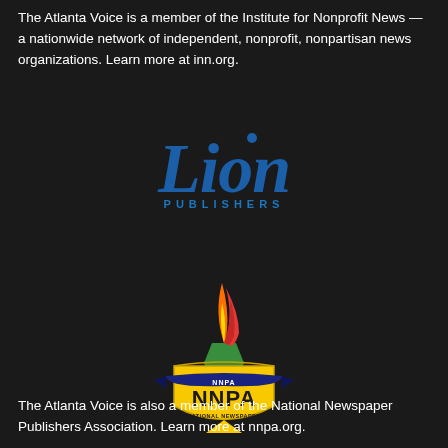The Atlanta Voice is a member of the Institute for Nonprofit News — a nationwide network of independent, nonprofit, nonpartisan news organizations. Learn more at inn.org.
[Figure (logo): Lion Publishers logo — stylized italic 'Lion' text in dark blue with a small circle above the 'i', and 'PUBLISHERS' in spaced uppercase letters below]
[Figure (logo): NNPA (National Newspaper Publishers Association) logo — a torch with orange and red flame above a gold shield with 'NNPA' text and 'NATIONAL NEWSPAPER PUBLISHERS ASSOCIATION' around the border]
The Atlanta Voice is also a member of the National Newspaper Publishers Association. Learn more at nnpa.org.